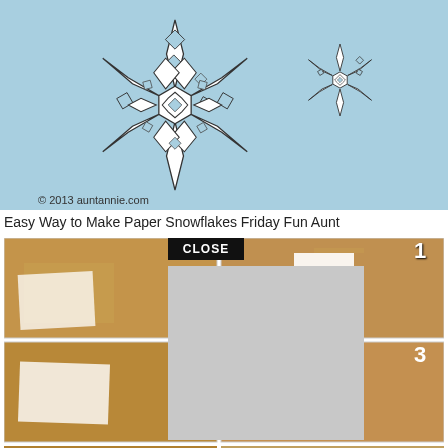[Figure (illustration): Paper snowflakes on light blue background with copyright 2013 auntannie.com]
Easy Way to Make Paper Snowflakes Friday Fun Aunt
[Figure (screenshot): Grid of step-by-step photos showing how to make paper snowflakes, with a CLOSE button overlay and a gray rectangle covering part of the image. Steps 1 and 3 are visible in top-right and middle-right panels.]